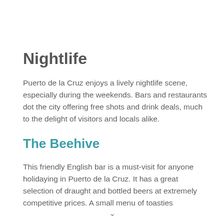Nightlife
Puerto de la Cruz enjoys a lively nightlife scene, especially during the weekends. Bars and restaurants dot the city offering free shots and drink deals, much to the delight of visitors and locals alike.
The Beehive
This friendly English bar is a must-visit for anyone holidaying in Puerto de la Cruz. It has a great selection of draught and bottled beers at extremely competitive prices. A small menu of toasties